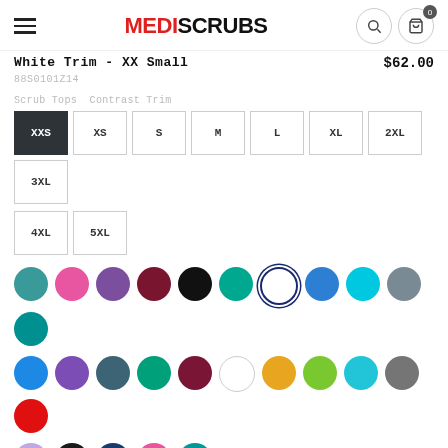MEDISCRUBS
White Trim - XX Small
$62.00
88S0101Z14
Scrub Tops  Contrast Trim
Size options: XXS (selected), XS, S, M, L, XL, 2XL, 3XL, 4XL, 5XL
[Figure (other): Color swatch circles for product color selection — two rows of colored circles including teal, pink, purple, burgundy, black, green, navy (selected), blue, cyan, gray, dark teal, then blue, purple, slate, teal, burgundy, white, amber, lime, cyan, gray, red, lavender, black, navy, hot pink, teal]